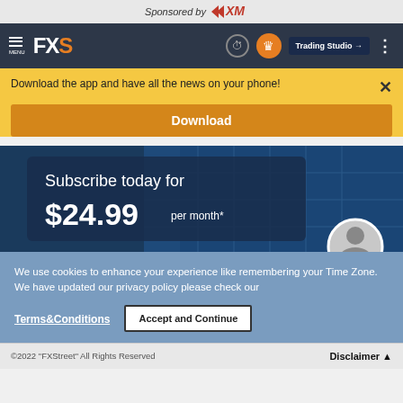Sponsored by XM
[Figure (screenshot): FXStreet navigation bar with FXS logo, clock icon, crown button, Trading Studio button, and menu dots]
Download the app and have all the news on your phone!
Download
[Figure (infographic): Subscribe today for $24.99 per month* promotional banner with dark blue building background]
We use cookies to enhance your experience like remembering your Time Zone. We have updated our privacy policy please check our
Terms&Conditions
Accept and Continue
©2022 "FXStreet" All Rights Reserved   Disclaimer